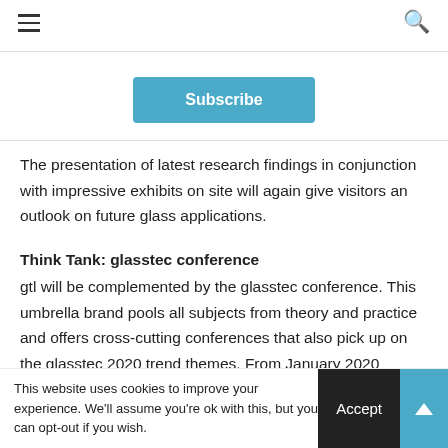≡  🔍
[Figure (other): Subscribe button (blue, rounded rectangle)]
The presentation of latest research findings in conjunction with impressive exhibits on site will again give visitors an outlook on future glass applications.
Think Tank: glasstec conference
gtl will be complemented by the glasstec conference. This umbrella brand pools all subjects from theory and practice and offers cross-cutting conferences that also pick up on the glasstec 2020 trend themes. From January 2020 exhibitors
This website uses cookies to improve your experience. We'll assume you're ok with this, but you can opt-out if you wish.  Accept